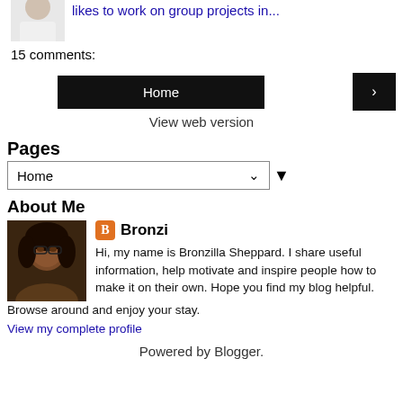[Figure (photo): Partial photo of a person in white clothing, cropped at top]
likes to work on group projects in...
15 comments:
Home
›
View web version
Pages
Home
About Me
[Figure (photo): Profile photo of Bronzilla Sheppard, a woman with dark hair and glasses]
Bronzi
Hi, my name is Bronzilla Sheppard. I share useful information, help motivate and inspire people how to make it on their own. Hope you find my blog helpful. Browse around and enjoy your stay.
View my complete profile
Powered by Blogger.